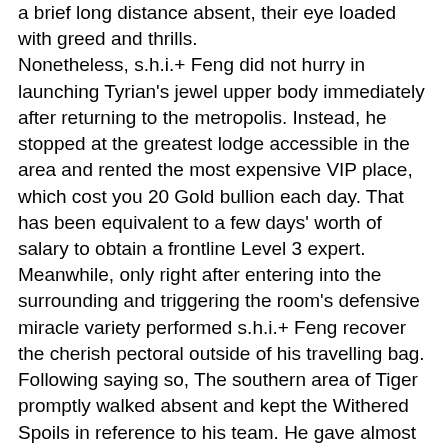a brief long distance absent, their eye loaded with greed and thrills. Nonetheless, s.h.i.+ Feng did not hurry in launching Tyrian's jewel upper body immediately after returning to the metropolis. Instead, he stopped at the greatest lodge accessible in the area and rented the most expensive VIP place, which cost you 20 Gold bullion each day. That has been equivalent to a few days' worth of salary to obtain a frontline Level 3 expert. Meanwhile, only right after entering into the surrounding and triggering the room's defensive miracle variety performed s.h.i.+ Feng recover the cherish pectoral outside of his travelling bag. Following saying so, The southern area of Tiger promptly walked absent and kept the Withered Spoils in reference to his team. He gave almost no time for Wu Lingling to reply in any way. The jewel torso was shaded crimson and precious metal. Formerly, the seal off added to the value chest area acquired prevented s.h.i.+ Feng from seeing it certainly, but this time the fact that secure was gone, he spotted dark colored electrical arcs developing around the prize chest every so often. It checked just